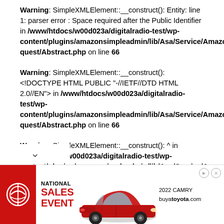Warning: SimpleXMLElement::__construct(): Entity: line 1: parser error : Space required after the Public Identifier in /www/htdocs/w00d023a/digitalradio-test/wp-content/plugins/amazonsimpleadmin/lib/Asa/Service/Amazon/Request/Abstract.php on line 66
Warning: SimpleXMLElement::__construct(): <!DOCTYPE HTML PUBLIC "-//IETF//DTD HTML 2.0//EN"> in /www/htdocs/w00d023a/digitalradio-test/wp-content/plugins/amazonsimpleadmin/lib/Asa/Service/Amazon/Request/Abstract.php on line 66
Warning: SimpleXMLElement::__construct(): ^ in /www/htdocs/w00d023a/digitalradio-test/wp-content/plugins/amazonsimpleadmin/lib/Asa/Service/Amazon/Request/Abstract.php on line 66
[Figure (other): Toyota National Sales Event advertisement banner featuring a red 2022 Toyota Camry with text '2022 CAMRY' and 'buyatoyota.com']